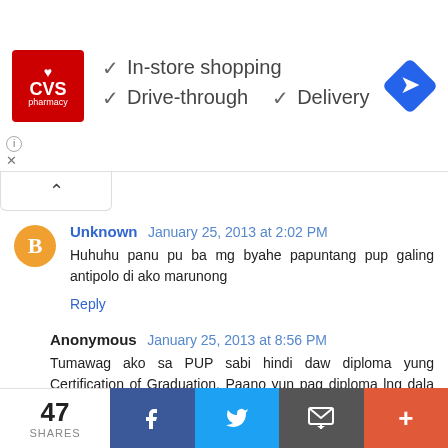[Figure (screenshot): CVS Pharmacy advertisement banner showing logo and service features: In-store shopping, Drive-through, Delivery with checkmarks and navigation icon]
Unknown January 25, 2013 at 2:02 PM
Huhuhu panu pu ba mg byahe papuntang pup galing antipolo di ako marunong
Reply
Anonymous January 25, 2013 at 8:56 PM
Tumawag ako sa PUP sabi hindi daw diploma yung Certification of Graduation. Paano yun pag diploma lng dala ko? :(
Reply